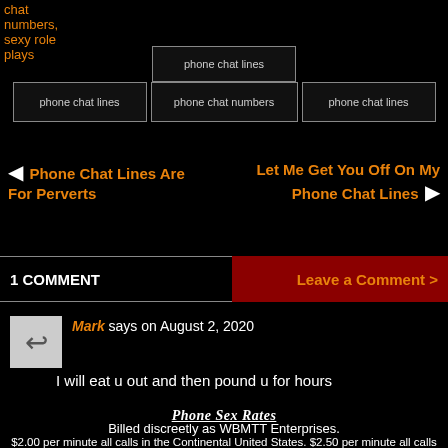chat numbers, sexy role plays
[Figure (photo): phone chat lines image placeholder (top center)]
[Figure (photo): Three image placeholders in a row: phone chat lines, phone chat numbers, phone chat lines]
◄ Phone Chat Lines Are For Perverts
Let Me Get You Off On My Phone Chat Lines ►
1 COMMENT
Leave a Comment >
Mark says on August 2, 2020
I will eat u out and then pound u for hours
Phone Sex Rates
Billed discreetly as WBMTT Enterprises.
$2.00 per minute all calls in the Continental United States. $2.50 per minute all calls from Canada & International Calls.